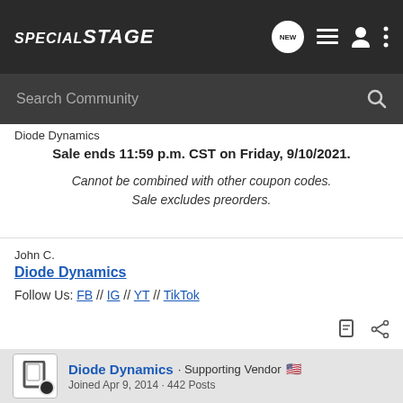SPECIAL STAGE [navigation bar with NEW, list, user, and menu icons]
Search Community
Diode Dynamics
Sale ends 11:59 p.m. CST on Friday, 9/10/2021.
Cannot be combined with other coupon codes. Sale excludes preorders.
John C.
Diode Dynamics
Follow Us: FB // IG // YT // TikTok
Diode Dynamics · Supporting Vendor 🇺🇸
Joined Apr 9, 2014 · 442 Posts